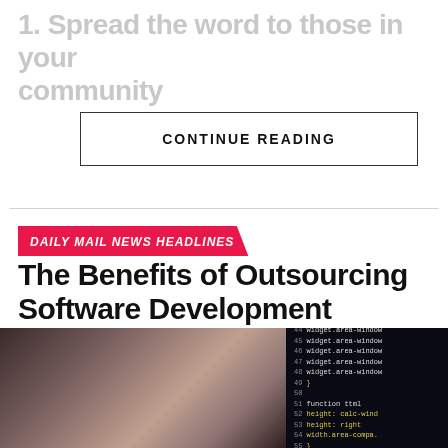1. Spread the word to those in your community
CONTINUE READING
DAILY MAIL NEWS HEADLINES
The Benefits of Outsourcing Software Development
Published 4 months ago on April 18, 2022
By AdowwCom
[Figure (photo): Blurred desk/office scene on left; dark computer screen with colorful code on right]